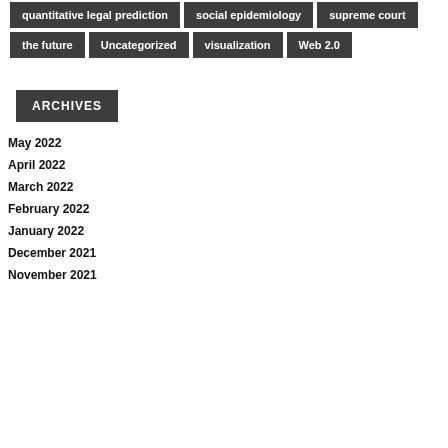quantitative legal prediction
social epidemiology
supreme court
the future
Uncategorized
visualization
Web 2.0
ARCHIVES
May 2022
April 2022
March 2022
February 2022
January 2022
December 2021
November 2021